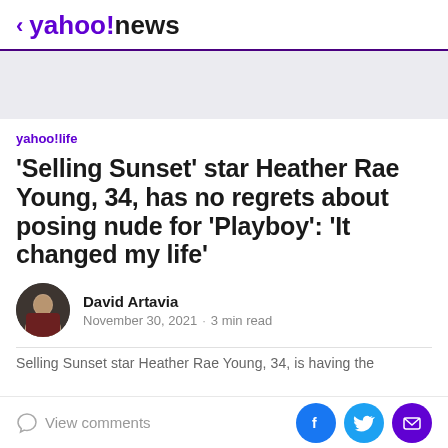< yahoo!news
[Figure (other): Advertisement banner placeholder, light gray background]
yahoo!life
'Selling Sunset' star Heather Rae Young, 34, has no regrets about posing nude for 'Playboy': 'It changed my life'
David Artavia
November 30, 2021 · 3 min read
Selling Sunset star Heather Rae Young, 34, is having the
View comments